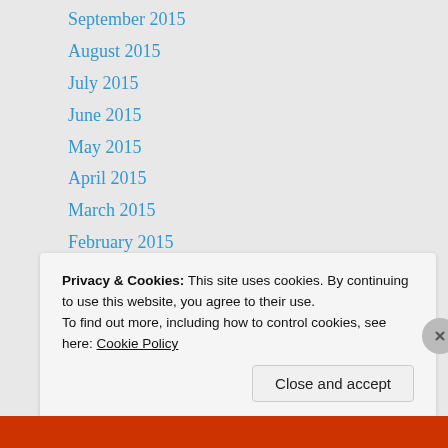September 2015
August 2015
July 2015
June 2015
May 2015
April 2015
March 2015
February 2015
January 2015
EVERYTHINGNOIR
Privacy & Cookies: This site uses cookies. By continuing to use this website, you agree to their use. To find out more, including how to control cookies, see here: Cookie Policy
Close and accept